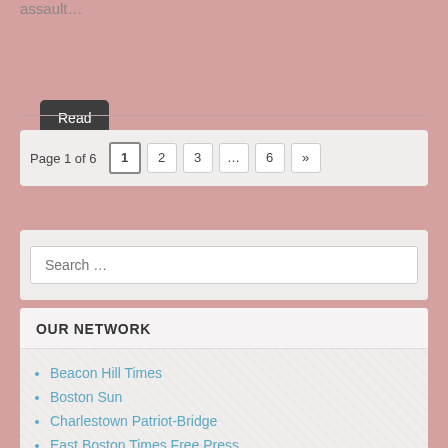assault…
Read more →
Page 1 of 6  1  2  3  …  6  »
Search …
OUR NETWORK
Beacon Hill Times
Boston Sun
Charlestown Patriot-Bridge
East Boston Times Free Press